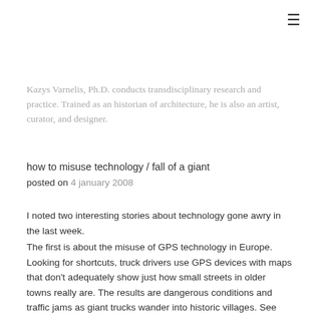[Figure (other): Hamburger menu icon (three horizontal lines) in top right corner]
Kazys Varnelis, Ph.D. conducts transdisciplinary research and practice. Trained as an historian of architecture, he is also an artist, curator, and designer.
how to misuse technology / fall of a giant
posted on 4 january 2008
I noted two interesting stories about technology gone awry in the last week.
The first is about the misuse of GPS technology in Europe. Looking for shortcuts, truck drivers use GPS devices with maps that don't adequately show just how small streets in older towns really are. The results are dangerous conditions and traffic jams as giant trucks wander into historic villages. See here.